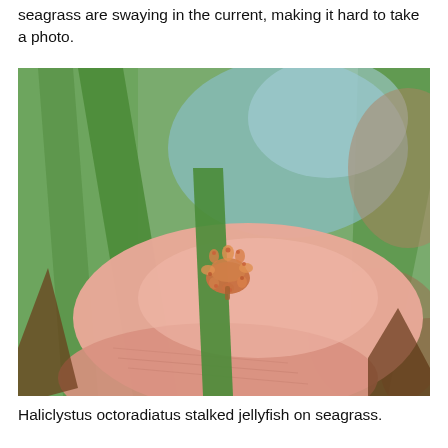seagrass are swaying in the current, making it hard to take a photo.
[Figure (photo): Close-up photograph of a tiny Haliclystus octoradiatus stalked jellyfish sitting on a green seagrass blade held between a person's fingertip and thumb. The small orange-brown jellyfish is barely the size of a fingernail, with radiating tentacle clusters visible. Background shows blurred green seagrass blades and light blue/brown bokeh.]
Haliclystus octoradiatus stalked jellyfish on seagrass.